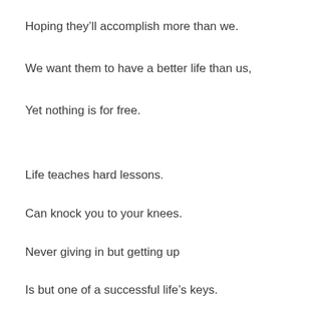Hoping they’ll accomplish more than we.
We want them to have a better life than us,
Yet nothing is for free.
Life teaches hard lessons.
Can knock you to your knees.
Never giving in but getting up
Is but one of a successful life’s keys.
We were put here for a purpose.